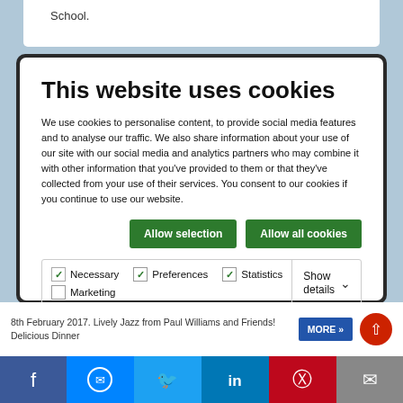School.
This website uses cookies
We use cookies to personalise content, to provide social media features and to analyse our traffic. We also share information about your use of our site with our social media and analytics partners who may combine it with other information that you've provided to them or that they've collected from your use of their services. You consent to our cookies if you continue to use our website.
Allow selection | Allow all cookies
Necessary  Preferences  Statistics  Show details  Marketing
8th February 2017. Lively Jazz from Paul Williams and Friends! Delicious Dinner
MORE »